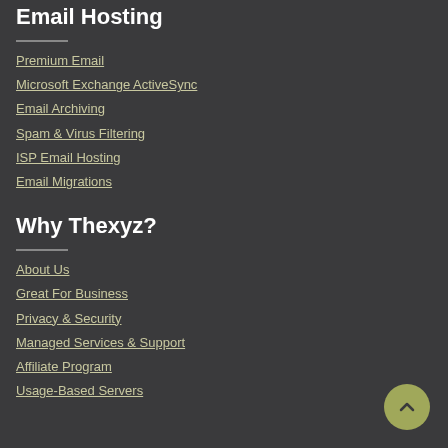Email Hosting
Premium Email
Microsoft Exchange ActiveSync
Email Archiving
Spam & Virus Filtering
ISP Email Hosting
Email Migrations
Why Thexyz?
About Us
Great For Business
Privacy & Security
Managed Services & Support
Affiliate Program
Usage-Based Servers